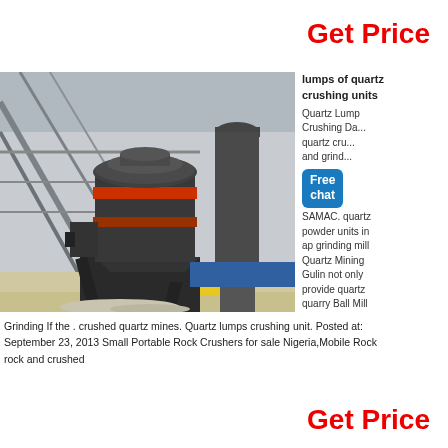Get Price
[Figure (photo): Industrial grinding mill / quartz crushing unit inside a large factory building with steel framework structure]
lumps of quartz crushing units
Quartz Lump Crushing Da... quartz cru... and grind... SAMAC. quartz powder units in ap grinding mill Quartz Mining Gulin not only provide quartz quarry Ball Mill
Grinding If the . crushed quartz mines. Quartz lumps crushing unit. Posted at: September 23, 2013 Small Portable Rock Crushers for sale Nigeria,Mobile Rock rock and crushed
Get Price